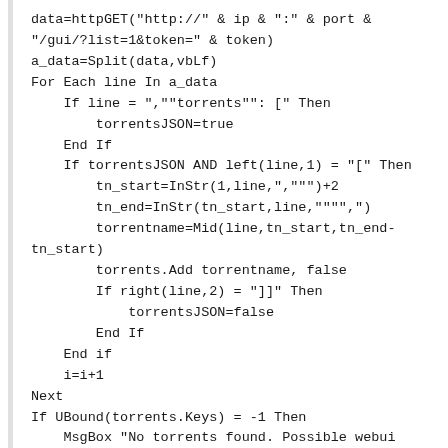data=httpGET("http://" & ip & ":" & port &
"/gui/?list=1&token=" & token)
a_data=Split(data,vbLf)
For Each line In a_data
    If line = ",""torrents"": [" Then
        torrentsJSON=true
    End If
    If torrentsJSON AND left(line,1) = "[" Then
        tn_start=InStr(1,line,",""")+2
        tn_end=InStr(tn_start,line,""",")
        torrentname=Mid(line,tn_start,tn_end-tn_start)
        torrents.Add torrentname, false
        If right(line,2) = "]]" Then
            torrentsJSON=false
        End If
    End if
    i=i+1
Next
If UBound(torrents.Keys) = -1 Then
    MsgBox "No torrents found. Possible webui
error. The webui returned:" & vbNewLine & data